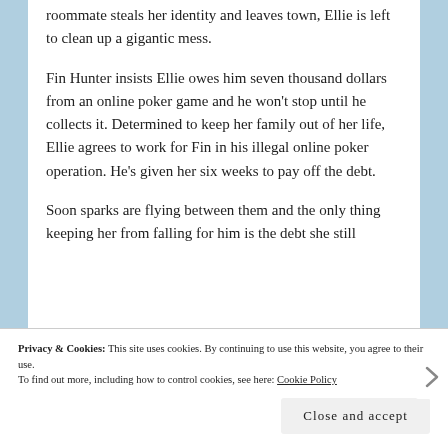roommate steals her identity and leaves town, Ellie is left to clean up a gigantic mess.
Fin Hunter insists Ellie owes him seven thousand dollars from an online poker game and he won't stop until he collects it. Determined to keep her family out of her life, Ellie agrees to work for Fin in his illegal online poker operation. He's given her six weeks to pay off the debt.
Soon sparks are flying between them and the only thing keeping her from falling for him is the debt she still
Privacy & Cookies: This site uses cookies. By continuing to use this website, you agree to their use.
To find out more, including how to control cookies, see here: Cookie Policy
Close and accept